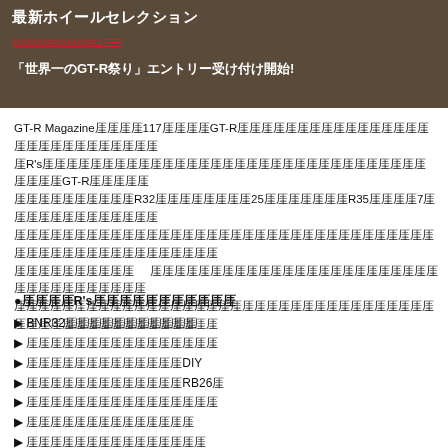[Figure (photo): Brown/dark banner with Japanese text showing latest wheel selection and GT-R festival entry announcement]
GT-R Magazine第117号にGT-Rのすべてが詰まっています。オーナーたちのR'sミーティングでのGT-Rの姿。R32誕生から25年後のR35のたゆまぬ7年間の歩み。そして今もGT-Rを愛するすべての人のための情報が満載です。
●特集R'sミーティングの楽しみ方
▶ BNR32の各部チェックポイント
▶ ドライビングポジションの決め方
▶ 自分でできるメンテナンスDIY
▶ 自分でできるエンジンRB26編
▶ ドライビングテクニックの磨き方
▶ サーキット走行の楽しみ方
▶ ドレスアップのポイントと注意点
▶ 保険の選び方と節約術